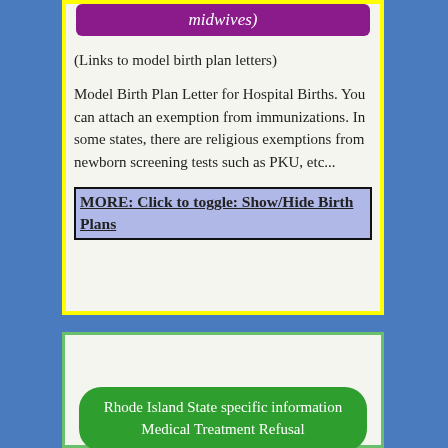midwives)
(Links to model birth plan letters)
Model Birth Plan Letter for Hospital Births. You can attach an exemption from immunizations. In some states, there are religious exemptions from newborn screening tests such as PKU, etc...
MORE: Click to toggle: Show/Hide Birth Plans
Rhode Island State specific information Medical Treatment Refusal